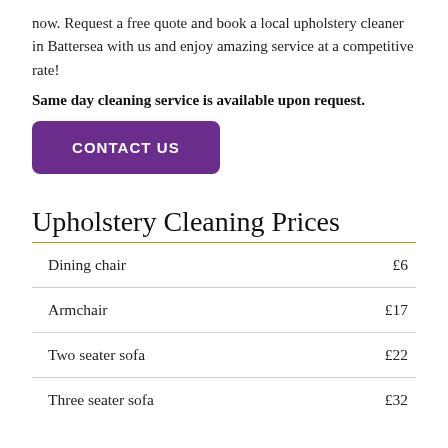now. Request a free quote and book a local upholstery cleaner in Battersea with us and enjoy amazing service at a competitive rate!
Same day cleaning service is available upon request.
[Figure (other): Purple button with text 'CONTACT US']
Upholstery Cleaning Prices
| Item | Price |
| --- | --- |
| Dining chair | £6 |
| Armchair | £17 |
| Two seater sofa | £22 |
| Three seater sofa | £32 |